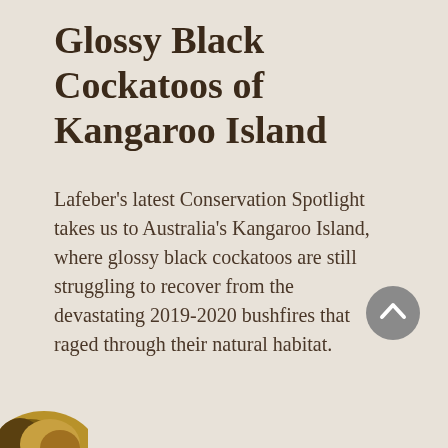Glossy Black Cockatoos of Kangaroo Island
Lafeber's latest Conservation Spotlight takes us to Australia's Kangaroo Island, where glossy black cockatoos are still struggling to recover from the devastating 2019-2020 bushfires that raged through their natural habitat.
[Figure (illustration): A circular grey scroll-to-top button with an upward-pointing chevron arrow, positioned in the lower right area of the page.]
[Figure (photo): Partial view of a bird (likely a cockatoo) image visible in the bottom-left corner of the page.]